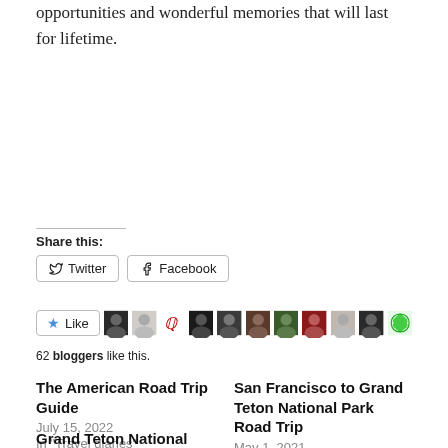opportunities and wonderful memories that will last for lifetime.
Share this:
Twitter   Facebook
[Figure (other): Like button with star icon and row of 11 blogger avatar thumbnails]
62 bloggers like this.
The American Road Trip Guide
July 15, 2022
In "Travel diaries"
San Francisco to Grand Teton National Park Road Trip
May 1, 2021
In "Travel diaries"
Grand Teton National